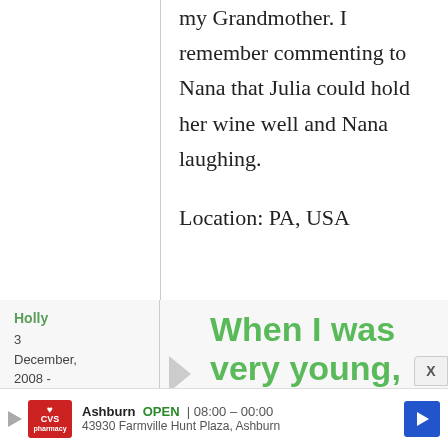my Grandmother. I remember commenting to Nana that Julia could hold her wine well and Nana laughing.

Location: PA, USA
Holly
3 December, 2008 - 21:52
When I was very young, my